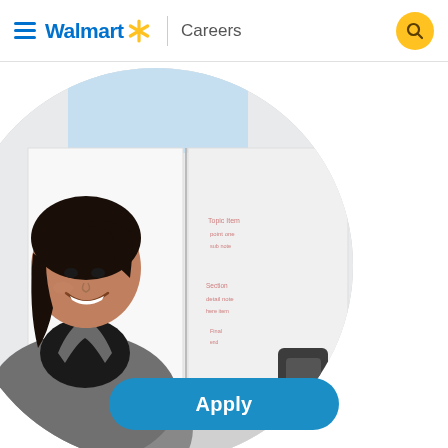Walmart Careers
[Figure (photo): A smiling young woman in a grey blazer and black top sitting at a meeting table in front of a whiteboard with writing on it. The photo is cropped in a circle.]
Apply